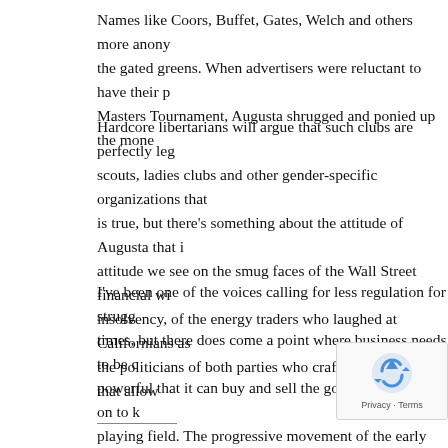Names like Coors, Buffet, Gates, Welch and others more anony the gated greens. When advertisers were reluctant to have their p Masters Tournament, Augusta shrugged and ponied up the mone
Hardcore libertarians will argue that such clubs are perfectly leg scouts, ladies clubs and other gender-specific organizations that is true, but there's something about the attitude of Augusta that attitude we see on the smug faces of the Wall Street financial wi insolvency, of the energy traders who laughed at Californians as the politicians of both parties who crafted the policies that allow
I've been one of the voices calling for less regulation for strugg times, but there does come a point where business needs to be c powerful that it can buy and sell the government we rely on to k playing field. The progressive movement of the early 20th centu workers and consumers were bored. It was because of attitudes themselves as a privileged class that doesn't have to